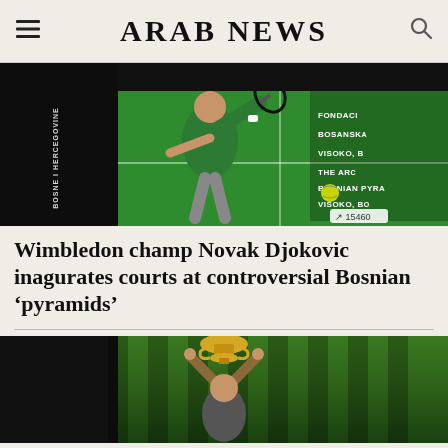ARAB NEWS
[Figure (photo): Novak Djokovic playing tennis in green shirt on a green-background court with Bosnian pyramid foundation banners. Banner text includes: BOSNE I HERCEGOVINE, FONDACI, BOSANSKA, VISOKO B, THE ARC, BOSNIAN PYRA, VISOKO BO. View count: 15460]
Wimbledon champ Novak Djokovic inagurates courts at controversial Bosnian ‘pyramids’
[Figure (photo): Person holding up a golden Wimbledon trophy against striped shadow background on grass court]